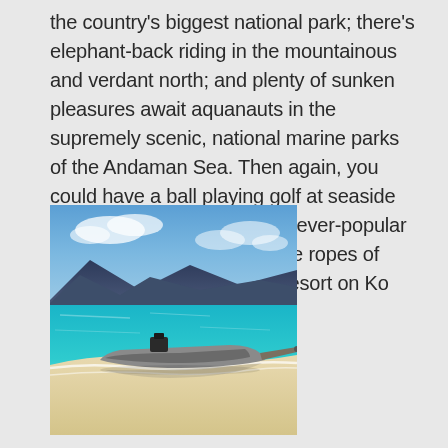the country's biggest national park; there's elephant-back riding in the mountainous and verdant north; and plenty of sunken pleasures await aquanauts in the supremely scenic, national marine parks of the Andaman Sea. Then again, you could have a ball playing golf at seaside resorts like Hua Hin and the ever-popular island of Phuket. Or learn the ropes of Muai Thai kick-boxing at a resort on Ko Samui.
[Figure (photo): A traditional Thai longtail boat moored on a tropical beach with clear turquoise water and white sand, mountainous islands visible in the background under a blue sky with clouds.]